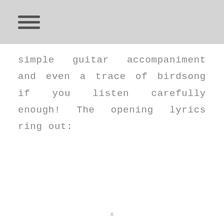simple guitar accompaniment and even a trace of birdsong if you listen carefully enough! The opening lyrics ring out:
x